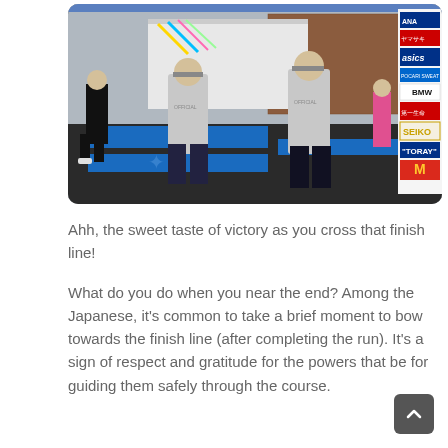[Figure (photo): Marathon finish line area with two officials in gray ASICS jackets seen from behind, standing on blue timing mats. Sponsor banners visible on the right including ASICS, SEIKO, TORAY, BMW, and others. A runner in black is visible on the left side.]
Ahh, the sweet taste of victory as you cross that finish line!
What do you do when you near the end? Among the Japanese, it's common to take a brief moment to bow towards the finish line (after completing the run). It's a sign of respect and gratitude for the powers that be for guiding them safely through the course.